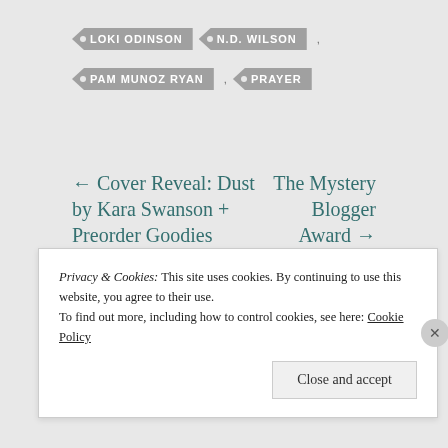LOKI ODINSON
N.D. WILSON
PAM MUNOZ RYAN
PRAYER
← Cover Reveal: Dust by Kara Swanson + Preorder Goodies
The Mystery Blogger Award →
Privacy & Cookies: This site uses cookies. By continuing to use this website, you agree to their use.
To find out more, including how to control cookies, see here: Cookie Policy
Close and accept